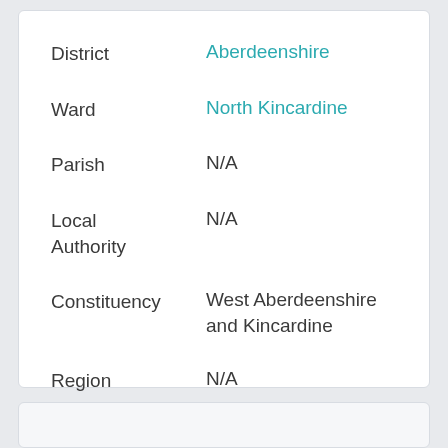| Field | Value |
| --- | --- |
| District | Aberdeenshire |
| Ward | North Kincardine |
| Parish | N/A |
| Local Authority | N/A |
| Constituency | West Aberdeenshire and Kincardine |
| Region | N/A |